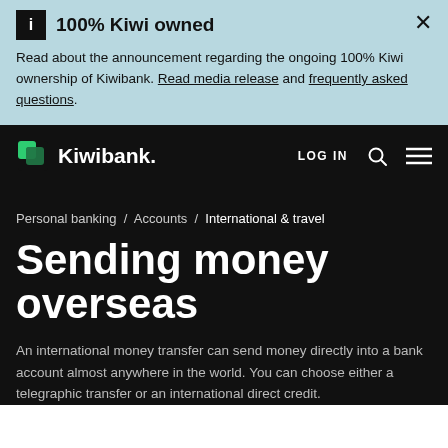100% Kiwi owned
Read about the announcement regarding the ongoing 100% Kiwi ownership of Kiwibank. Read media release and frequently asked questions.
[Figure (screenshot): Kiwibank navigation bar with logo, LOG IN, search icon, and hamburger menu on black background]
Personal banking / Accounts / International & travel
Sending money overseas
An international money transfer can send money directly into a bank account almost anywhere in the world. You can choose either a telegraphic transfer or an international direct credit.